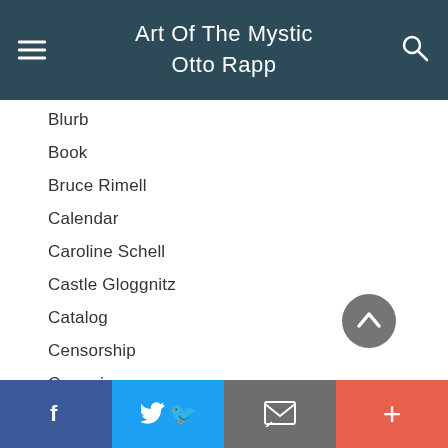Art Of The Mystic Otto Rapp
Blurb
Book
Bruce Rimell
Calendar
Caroline Schell
Castle Gloggnitz
Catalog
Censorship
Ceramics
Chimeria
Christmas
Civil Disobedience
Clemens Arvay
Conceptual Art
Conspiracy Theories
Contest
f  Twitter  Email  +